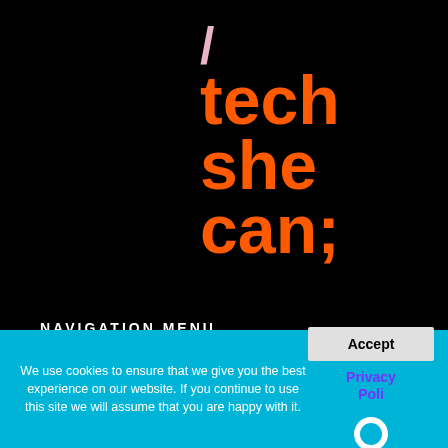[Figure (logo): Tech She Can logo: a pink forward slash followed by 'tech she can;' in bold orange text on black background]
NAVIGATION MENU
> NEWS & ARTICLES
> TECH JOBS SEARCH
> TECH NETWORKS
We use cookies to ensure that we give you the best experience on our website. If you continue to use this site we will assume that you are happy with it.
Accept
Privacy Poli